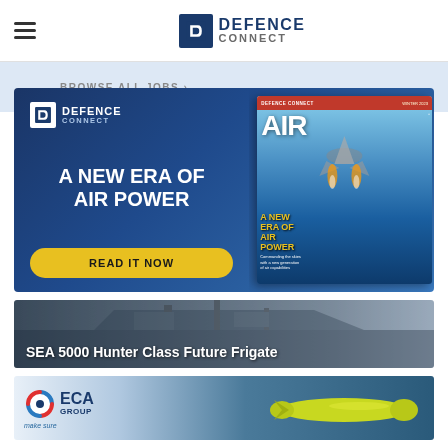DEFENCE CONNECT
BROWSE ALL JOBS ›
[Figure (infographic): Defence Connect advertisement banner for 'A New Era of Air Power' magazine issue. Dark blue background with Defence Connect logo, headline 'A NEW ERA OF AIR POWER', yellow 'READ IT NOW' button, and magazine cover showing a fighter jet with yellow text overlay 'A NEW ERA OF AIR POWER'.]
[Figure (photo): SEA 5000 Hunter Class Future Frigate - dark naval warship image with text overlay on dark blue-grey background.]
[Figure (photo): ECA Group advertisement showing logo with 'make sure' tagline and an underwater torpedo/UUV drone on dark blue background.]